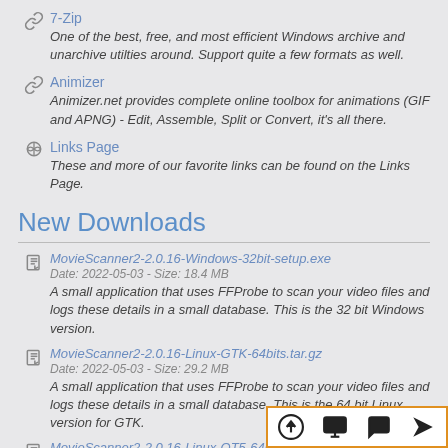7-Zip
One of the best, free, and most efficient Windows archive and unarchive utilties around. Support quite a few formats as well.
Animizer
Animizer.net provides complete online toolbox for animations (GIF and APNG) - Edit, Assemble, Split or Convert, it's all there.
Links Page
These and more of our favorite links can be found on the Links Page.
New Downloads
MovieScanner2-2.0.16-Windows-32bit-setup.exe
Date: 2022-05-03 - Size: 18.4 MB
A small application that uses FFProbe to scan your video files and logs these details in a small database. This is the 32 bit Windows version.
MovieScanner2-2.0.16-Linux-GTK-64bits.tar.gz
Date: 2022-05-03 - Size: 29.2 MB
A small application that uses FFProbe to scan your video files and logs these details in a small database. This is the 64 bit Linux version for GTK.
MovieScanner2-2.0.16-Linux-QT5-64bits.ta...
Date: 2022-05-03 - Size: 29.1 MB